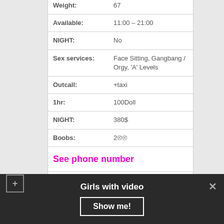| Field | Value |
| --- | --- |
| Weight: | 67 |
| Available: | 11:00 – 21:00 |
| NIGHT: | No |
| Sex services: | Face Sitting, Gangbang / Orgy, 'A' Levels |
| Outcall: | +taxi |
| 1hr: | 100Doll |
| NIGHT: | 380$ |
| Boobs: | 200 |
See phone number
Straight but will take any gender customer
Girls with video
Show me!